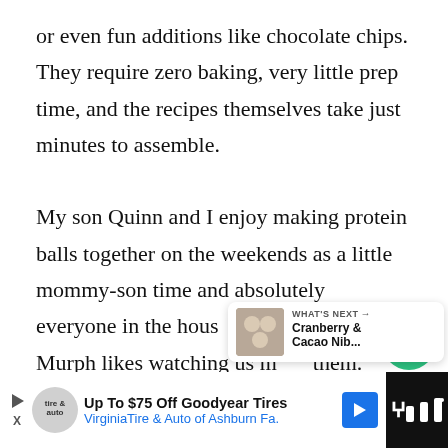or even fun additions like chocolate chips. They require zero baking, very little prep time, and the recipes themselves take just minutes to assemble.

My son Quinn and I enjoy making protein balls together on the weekends as a little mommy-son time and absolutely everyone in the house loves them! Even Murph likes watching us make them.
[Figure (screenshot): UI overlay showing a heart/like button (green circle with heart icon), a count of 1, and a share button]
[Figure (screenshot): What's Next card showing a thumbnail image and text 'Cranberry & Cacao Nib...']
[Figure (screenshot): Advertisement bar at bottom: 'Up To $75 Off Goodyear Tires' from Virginia Tire & Auto of Ashburn Fa.]